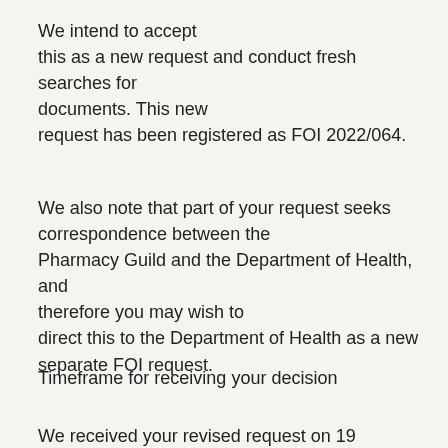We intend to accept this as a new request and conduct fresh searches for documents. This new request has been registered as FOI 2022/064.
We also note that part of your request seeks correspondence between the Pharmacy Guild and the Department of Health, and therefore you may wish to direct this to the Department of Health as a new separate FOI request.
Timeframe for receiving your decision
We received your revised request on 19 February